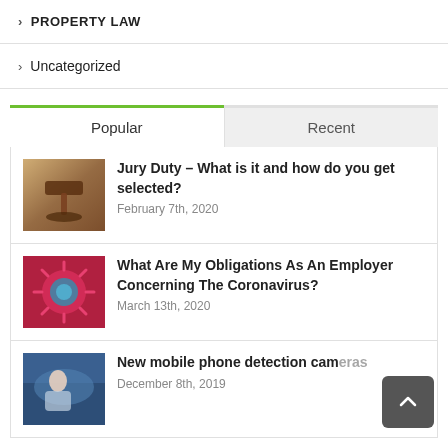> PROPERTY LAW
> Uncategorized
Popular | Recent
[Figure (photo): Gavel on a wooden surface representing jury duty / court]
Jury Duty – What is it and how do you get selected?
February 7th, 2020
[Figure (photo): Microscopic image of coronavirus (red/pink/blue virus particles)]
What Are My Obligations As An Employer Concerning The Coronavirus?
March 13th, 2020
[Figure (photo): Person in car, related to mobile phone detection cameras]
New mobile phone detection cameras
December 8th, 2019